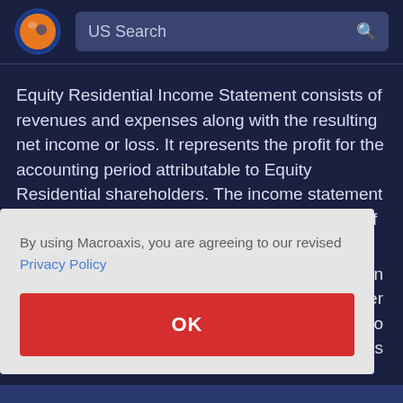[Figure (logo): Macroaxis logo — circular globe icon with orange and blue design]
US Search
Equity Residential Income Statement consists of revenues and expenses along with the resulting net income or loss. It represents the profit for the accounting period attributable to Equity Residential shareholders. The income statement also shows Equity investors and management if the firm ... of an ... d after ... al to ... rnings
By using Macroaxis, you are agreeing to our revised Privacy Policy
OK